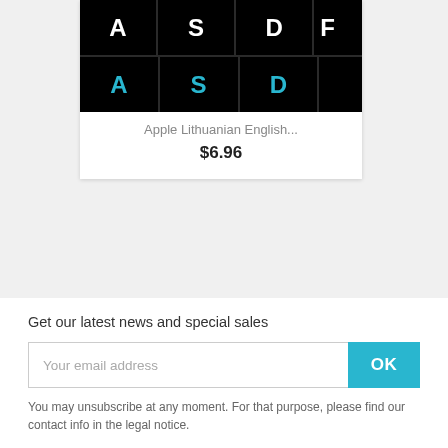[Figure (photo): Keyboard sticker image showing keys A, S, D, F (partial) in white on top row and cyan A, S, D on bottom row against black background]
Apple Lithuanian English...
$6.96
Showing 1-1 of 1 item(s)
Back to top ∧
Get our latest news and special sales
Your email address
OK
You may unsubscribe at any moment. For that purpose, please find our contact info in the legal notice.